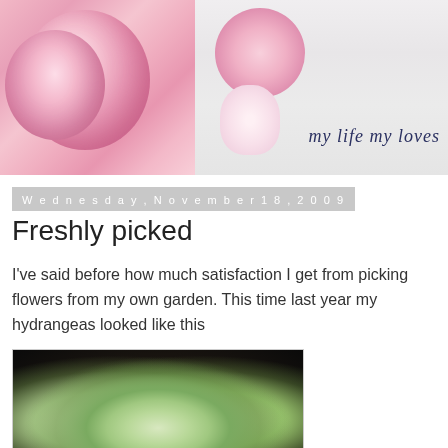[Figure (photo): Blog header banner with two photos side by side: left shows close-up pink carnation/peony flowers; right shows pink flowers in a white hobnail vase on a teal book with text 'my life my loves']
Wednesday, November 18, 2009
Freshly picked
I've said before how much satisfaction I get from picking flowers from my own garden. This time last year my hydrangeas looked like this
[Figure (photo): Photo of white and green hydrangea flowers with dark blurred background]